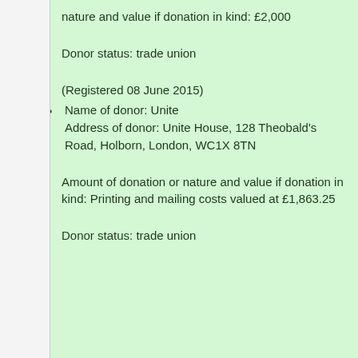nature and value if donation in kind: £2,000
Donor status: trade union
(Registered 08 June 2015)
Name of donor: Unite Address of donor: Unite House, 128 Theobald's Road, Holborn, London, WC1X 8TN
Amount of donation or nature and value if donation in kind: Printing and mailing costs valued at £1,863.25
Donor status: trade union